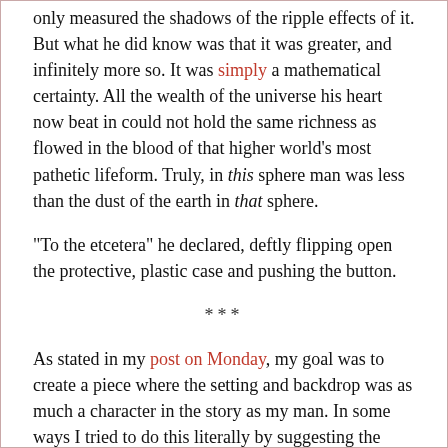only measured the shadows of the ripple effects of it. But what he did know was that it was greater, and infinitely more so. It was simply a mathematical certainty. All the wealth of the universe his heart now beat in could not hold the same richness as flowed in the blood of that higher world's most pathetic lifeform. Truly, in this sphere man was less than the dust of the earth in that sphere.
“To the etcetera” he declared, deftly flipping open the protective, plastic case and pushing the button.
***
As stated in my post on Monday, my goal was to create a piece where the setting and backdrop was as much a character in the story as my man. In some ways I tried to do this literally by suggesting the room possesses its own beating heart and thinking brain, but more generally it was my intention to form it have a consistent style, as that is